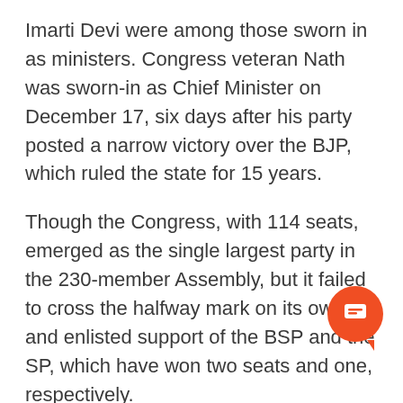Imarti Devi were among those sworn in as ministers. Congress veteran Nath was sworn-in as Chief Minister on December 17, six days after his party posted a narrow victory over the BJP, which ruled the state for 15 years.
Though the Congress, with 114 seats, emerged as the single largest party in the 230-member Assembly, but it failed to cross the halfway mark on its own and enlisted support of the BSP and the SP, which have won two seats and one, respectively.
(With PTI inputs)